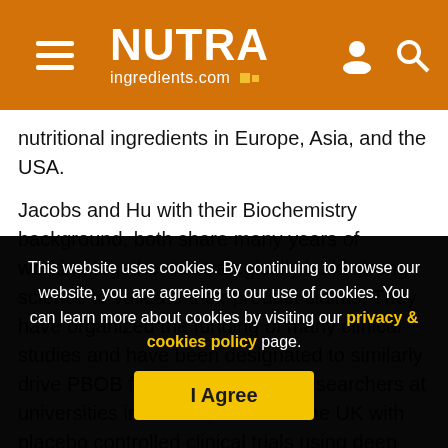NUTRAingredients.com
nutritional ingredients in Europe, Asia, and the USA.
Jacobs and Hu with their Biochemistry background, both share many years of working together to strategically build strong science to validate their product claims. They have organized the funding of many clinical studies and have been designated to similarly drive PBOB forwards.  Leading researchers at universities in Taiwan, USA and the UK with placebo controlled clinical trials using deep ocean minerals supports these clinical studies. The results consistently show statistically significant
This website uses cookies. By continuing to browse our website, you are agreeing to our use of cookies. You can learn more about cookies by visiting our privacy & cookies policy page.
I Agree